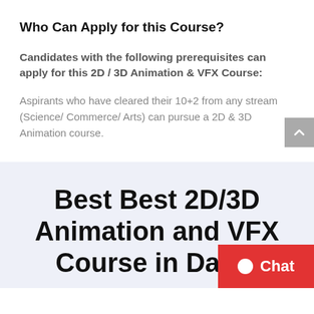Who Can Apply for this Course?
Candidates with the following prerequisites can apply for this 2D / 3D Animation & VFX Course:
Aspirants who have cleared their 10+2 from any stream (Science/ Commerce/ Arts) can pursue a 2D & 3D Animation course.
Best Best 2D/3D Animation and VFX Course in Daula